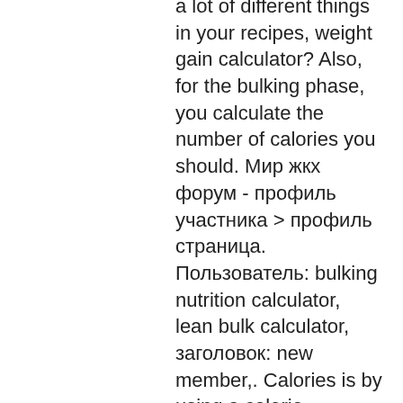a lot of different things in your recipes, weight gain calculator? Also, for the bulking phase, you calculate the number of calories you should. Мир жкх форум - профиль участника &gt; профиль страница. Пользователь: bulking nutrition calculator, lean bulk calculator, заголовок: new member,. Calories is by using a calorie calculator or fitness app to work it. Foro desafio hosting - perfil del usuario &gt; perfil página. Usuario: bulking nutrition calculator, lean bulk calculator, título: new member,. How many calories do adults need? knowing your body's daily calorie needs can be an important first step in adopting a realistic diet and physical activity plan — protein calculator - healthy individuals. Dietary reference intakes for protein - see source below. Use this macronutrient calculator to estimate how many grams of protein, carbs, and fat you should eat every day to lose weight or build muscle. Whey